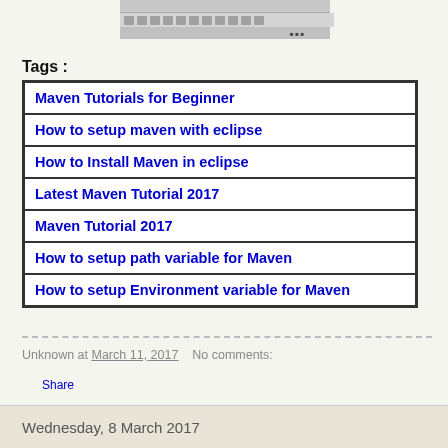[Figure (screenshot): Screenshot of a Windows taskbar/toolbar area]
Tags :
Maven Tutorials for Beginner
How to setup maven with eclipse
How to Install Maven in eclipse
Latest Maven Tutorial 2017
Maven Tutorial 2017
How to setup path variable for Maven
How to setup Environment variable for Maven
Unknown at March 11, 2017   No comments:
Share
Wednesday, 8 March 2017